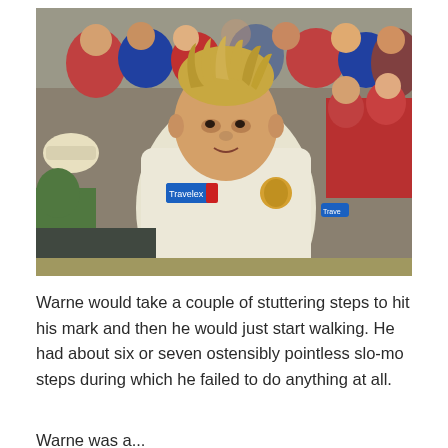[Figure (photo): A cricket player wearing a white Australian cricket uniform with sponsor logos, with spiky blonde hair, standing on the field with a crowd of spectators in the background including people in red and blue clothing.]
Warne would take a couple of stuttering steps to hit his mark and then he would just start walking. He had about six or seven ostensibly pointless slo-mo steps during which he failed to do anything at all.
Warne was...